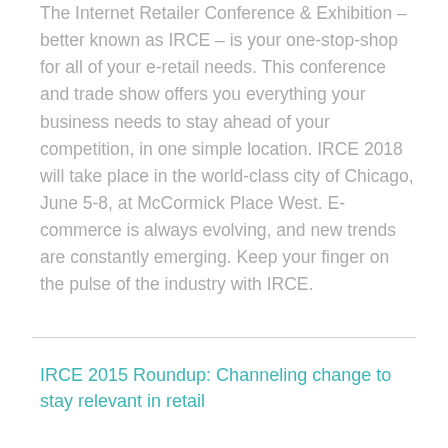The Internet Retailer Conference & Exhibition – better known as IRCE – is your one-stop-shop for all of your e-retail needs. This conference and trade show offers you everything your business needs to stay ahead of your competition, in one simple location. IRCE 2018 will take place in the world-class city of Chicago, June 5-8, at McCormick Place West. E-commerce is always evolving, and new trends are constantly emerging. Keep your finger on the pulse of the industry with IRCE.
IRCE 2015 Roundup: Channeling change to stay relevant in retail